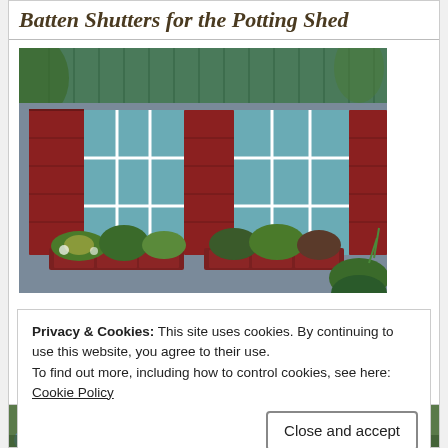Batten Shutters for the Potting Shed
[Figure (photo): Exterior of a potting shed with green metal roof, large multi-pane windows, red/maroon board-and-batten shutters, and window boxes filled with colorful plants and greenery.]
Privacy & Cookies: This site uses cookies. By continuing to use this website, you agree to their use.
To find out more, including how to control cookies, see here:
Cookie Policy
[Figure (photo): Partially visible photo at the bottom showing blue hydrangea flowers and green foliage.]